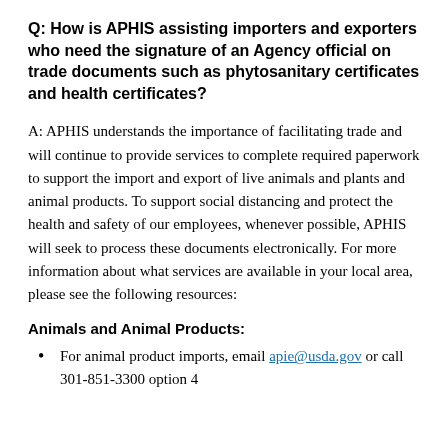Q: How is APHIS assisting importers and exporters who need the signature of an Agency official on trade documents such as phytosanitary certificates and health certificates?
A: APHIS understands the importance of facilitating trade and will continue to provide services to complete required paperwork to support the import and export of live animals and plants and animal products. To support social distancing and protect the health and safety of our employees, whenever possible, APHIS will seek to process these documents electronically. For more information about what services are available in your local area, please see the following resources:
Animals and Animal Products:
For animal product imports, email apie@usda.gov or call 301-851-3300 option 4